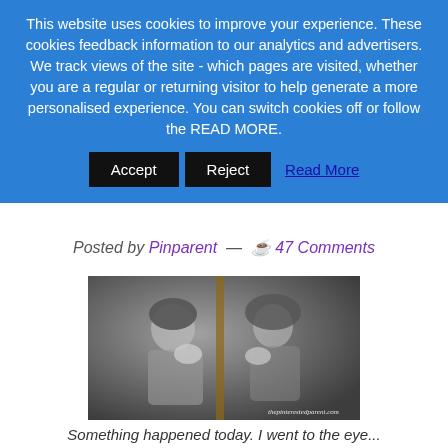This website uses cookies to improve your experience. These cookies feedback information to our analytics and advertisers. We track views of the site - which pages are visited, whether you are a regular or returning visitor to help generate a more personalised experience. You can switch cookies off or follow the READ MORE.
Accept | Reject | Read More
Posted by Pinparent — 47 Comments
[Figure (photo): Black and white photo of a woman looking at herself in a mirror, hand raised near her face. Watermark: thepinterestedparent.com]
Something happened today. I went to the eye...